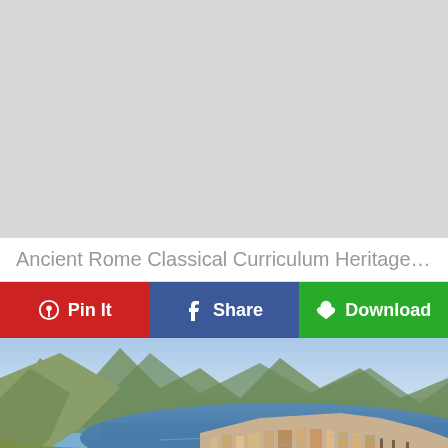[Figure (other): Gray placeholder rectangle for an image (content not loaded)]
Ancient Rome Classical Curriculum Heritage History R...
[Figure (infographic): Three action buttons: Pin It (red, Pinterest icon), Share (blue, Facebook icon), Download (green, download icon)]
[Figure (map): Aerial illustrated map of an ancient coastal city (likely ancient Rome or Carthage) showing mountains, a bay, harbor, and dense urban settlement in a detailed artistic style]